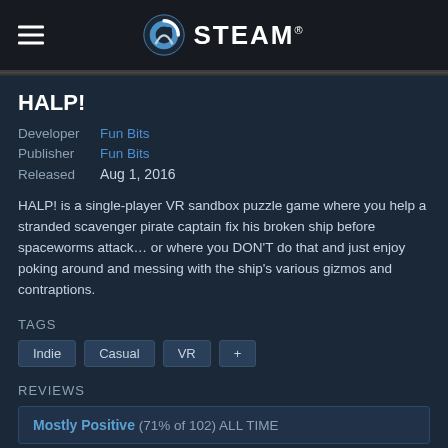STEAM
HALP!
Developer  Fun Bits
Publisher  Fun Bits
Released   Aug 1, 2016
HALP! is a single-player VR sandbox puzzle game where you help a stranded scavenger pirate captain fix his broken ship before spaceworms attack… or where you DON'T do that and just enjoy poking around and messing with the ship's various gizmos and contraptions.
TAGS
Indie
Casual
VR
+
REVIEWS
Mostly Positive (71% of 102) ALL TIME